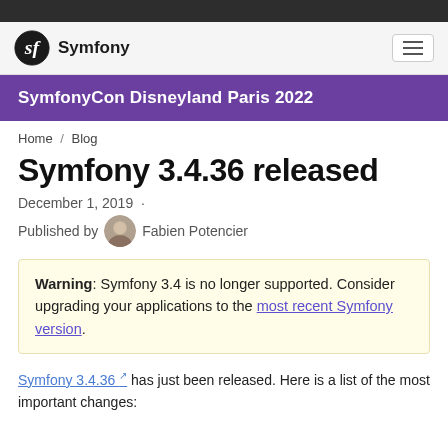Symfony
SymfonyCon Disneyland Paris 2022
Home / Blog
Symfony 3.4.36 released
December 1, 2019 · Published by Fabien Potencier
Warning: Symfony 3.4 is no longer supported. Consider upgrading your applications to the most recent Symfony version.
Symfony 3.4.36 has just been released. Here is a list of the most important changes: